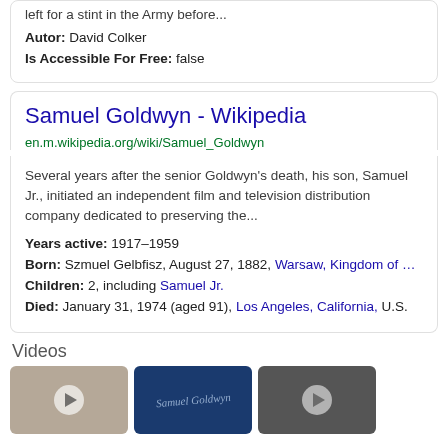left for a stint in the Army before...
Autor: David Colker
Is Accessible For Free: false
Samuel Goldwyn - Wikipedia
en.m.wikipedia.org/wiki/Samuel_Goldwyn
Several years after the senior Goldwyn's death, his son, Samuel Jr., initiated an independent film and television distribution company dedicated to preserving the...
Years active: 1917–1959
Born: Szmuel Gelbfisz, August 27, 1882, Warsaw, Kingdom of …
Children: 2, including Samuel Jr.
Died: January 31, 1974 (aged 91), Los Angeles, California, U.S.
Videos
[Figure (photo): Three video thumbnails: left shows a person, middle shows a dark blue background with script text, right shows a dark/grey image]